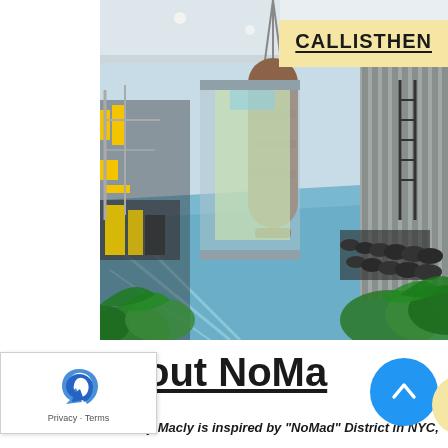[Figure (photo): Rendering of a calisthenics outdoor gym space with a hanging punching bag, blue floor, yellow equipment on left side, dumbbell rack on right, vertical slat wall, and tropical plants in foreground. A yellow banner in the top right corner reads 'CALLISTHEN' (partially visible).]
out NoMa
NoMa by Macly is inspired by "NoMad" District in NYC,